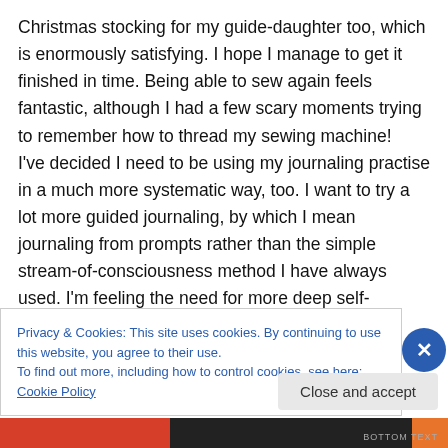Christmas stocking for my guide-daughter too, which is enormously satisfying. I hope I manage to get it finished in time. Being able to sew again feels fantastic, although I had a few scary moments trying to remember how to thread my sewing machine! I've decided I need to be using my journaling practise in a much more systematic way, too. I want to try a lot more guided journaling, by which I mean journaling from prompts rather than the simple stream-of-consciousness method I have always used. I'm feeling the need for more deep self-exploration, and I want to use my creativity as
Privacy & Cookies: This site uses cookies. By continuing to use this website, you agree to their use.
To find out more, including how to control cookies, see here: Cookie Policy
Close and accept